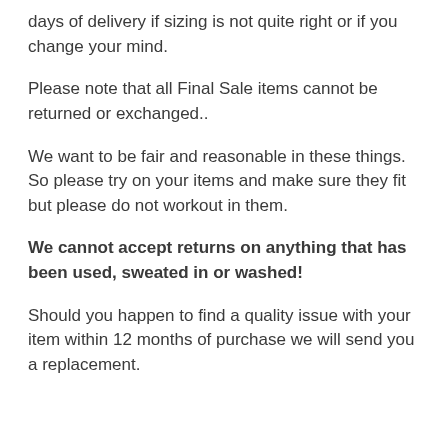days of delivery if sizing is not quite right or if you change your mind.
Please note that all Final Sale items cannot be returned or exchanged..
We want to be fair and reasonable in these things. So please try on your items and make sure they fit but please do not workout in them.
We cannot accept returns on anything that has been used, sweated in or washed!
Should you happen to find a quality issue with your item within 12 months of purchase we will send you a replacement.